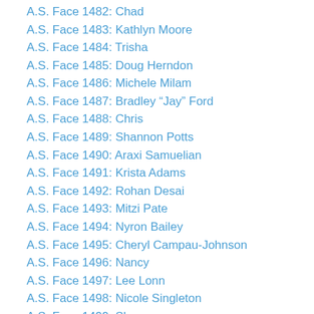A.S. Face 1482: Chad
A.S. Face 1483: Kathlyn Moore
A.S. Face 1484: Trisha
A.S. Face 1485: Doug Herndon
A.S. Face 1486: Michele Milam
A.S. Face 1487: Bradley “Jay” Ford
A.S. Face 1488: Chris
A.S. Face 1489: Shannon Potts
A.S. Face 1490: Araxi Samuelian
A.S. Face 1491: Krista Adams
A.S. Face 1492: Rohan Desai
A.S. Face 1493: Mitzi Pate
A.S. Face 1494: Nyron Bailey
A.S. Face 1495: Cheryl Campau-Johnson
A.S. Face 1496: Nancy
A.S. Face 1497: Lee Lonn
A.S. Face 1498: Nicole Singleton
A.S. Face 1499: Shawna
A.S. Face 1500: Michael Friend
A.S. Face 1501: Wayne M.